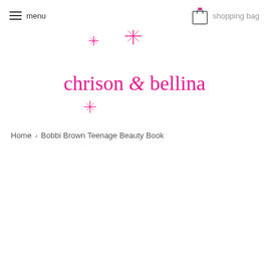menu | shopping bag
[Figure (logo): Chrison & Bellina logo with sparkle stars and pink script text reading 'chrison & bellina']
Home › Bobbi Brown Teenage Beauty Book